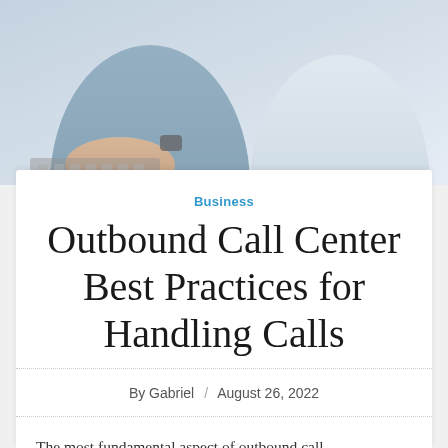[Figure (photo): Two people sitting at a desk, one in a light blue shirt typing on a keyboard, another in a white/cream top, seen from waist down.]
Business
Outbound Call Center Best Practices for Handling Calls
By Gabriel / August 26, 2022
The most fundamental aspect of outbound call